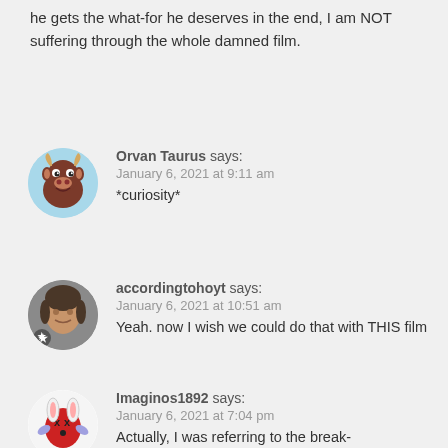he gets the what-for he deserves in the end, I am NOT suffering through the whole damned film.
Orvan Taurus says:
January 6, 2021 at 9:11 am
*curiosity*
accordingtohoyt says:
January 6, 2021 at 10:51 am
Yeah. now I wish we could do that with THIS film
Imaginos1892 says:
January 6, 2021 at 7:04 pm
Actually, I was referring to the break-